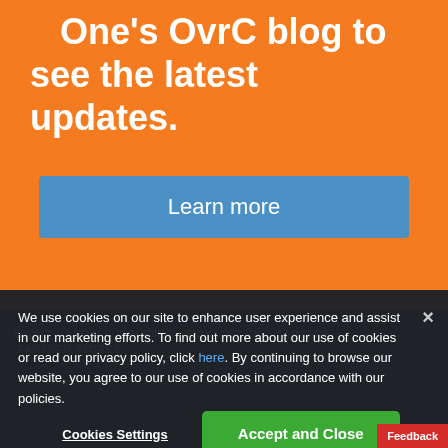One's OvrC blog to see the latest updates.
Learn more
ABOUT | LEGAL | POLICIES | CONTACT US | CAREERS | PARTNER STORES
We use cookies on our site to enhance user experience and assist in our marketing efforts. To find out more about our use of cookies or read our privacy policy, click here. By continuing to browse our website, you agree to our use of cookies in accordance with our policies.
Cookies Settings
Accept and Close
Feedback